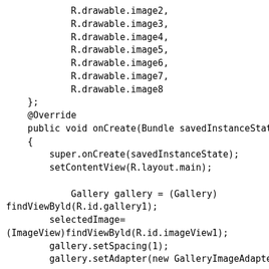R.drawable.image2,
            R.drawable.image3,
            R.drawable.image4,
            R.drawable.image5,
            R.drawable.image6,
            R.drawable.image7,
            R.drawable.image8
    };
    @Override
    public void onCreate(Bundle savedInstanceState)
    {
        super.onCreate(savedInstanceState);
        setContentView(R.layout.main);

            Gallery gallery = (Gallery)
findViewById(R.id.gallery1);
        selectedImage=
(ImageView)findViewById(R.id.imageView1);
        gallery.setSpacing(1);
        gallery.setAdapter(new GalleryImageAdapter(this));

        // clicklistener for Gallery